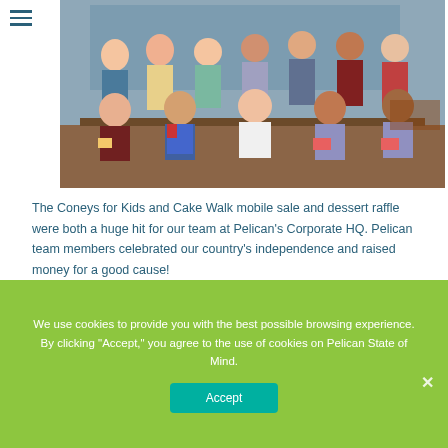[Figure (photo): Group photo of Pelican Corporate HQ employees holding cakes and desserts, seated and standing in rows indoors in front of a world map]
The Coneys for Kids and Cake Walk mobile sale and dessert raffle were both a huge hit for our team at Pelican's Corporate HQ. Pelican team members celebrated our country's independence and raised money for a good cause!
We use cookies to provide you with the best possible browsing experience. By clicking "Accept," you agree to the use of cookies on Pelican State of Mind.